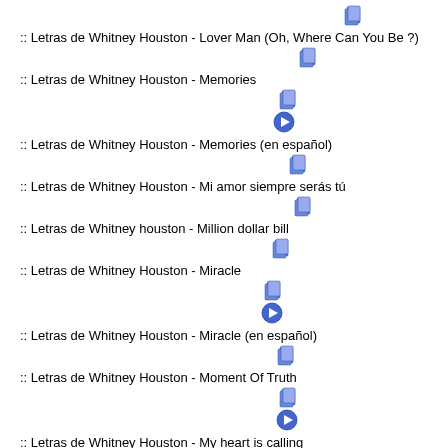[Figure (other): Blue document/card icon]
:: Letras de Whitney Houston - Lover Man (Oh, Where Can You Be ?)
[Figure (other): Blue document/card icon]
:: Letras de Whitney Houston - Memories
[Figure (other): Blue document/card icon]
[Figure (other): Blue play button icon]
:: Letras de Whitney Houston - Memories (en español)
[Figure (other): Blue document/card icon]
:: Letras de Whitney Houston - Mi amor siempre serás tú
[Figure (other): Blue document/card icon]
:: Letras de Whitney houston - Million dollar bill
[Figure (other): Blue document/card icon]
:: Letras de Whitney Houston - Miracle
[Figure (other): Blue document/card icon]
[Figure (other): Blue play button icon]
:: Letras de Whitney Houston - Miracle (en español)
[Figure (other): Blue document/card icon]
:: Letras de Whitney Houston - Moment Of Truth
[Figure (other): Blue document/card icon]
[Figure (other): Blue play button icon]
:: Letras de Whitney Houston - My heart is calling
[Figure (other): Blue document/card icon]
:: Letras de Whitney Houston - My lo...